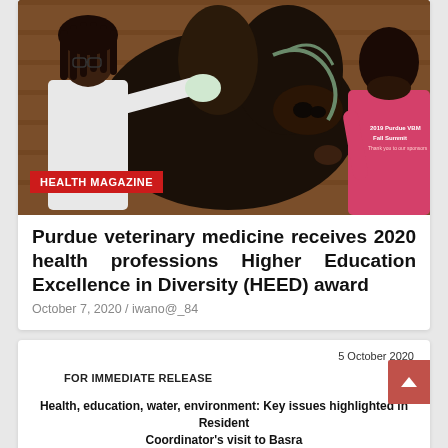[Figure (photo): A veterinary professional in white coat and gloves examining a dark brown horse, with another person in a pink t-shirt reading '2019 Purdue VBM Fall Summit' holding the horse's bridle, in a stable setting.]
HEALTH MAGAZINE
Purdue veterinary medicine receives 2020 health professions Higher Education Excellence in Diversity (HEED) award
October 7, 2020 / iwano@_84
5 October 2020
FOR IMMEDIATE RELEASE
Health, education, water, environment: Key issues highlighted in Resident Coordinator's visit to Basra
Baghdad, Iraq; 05 October 2020 - The Deputy Special Representative of the United Nations Assistance Mission for Iraq (UNAMI) and the United Nations Resident Coordinator and Humanitarian Coordinator in